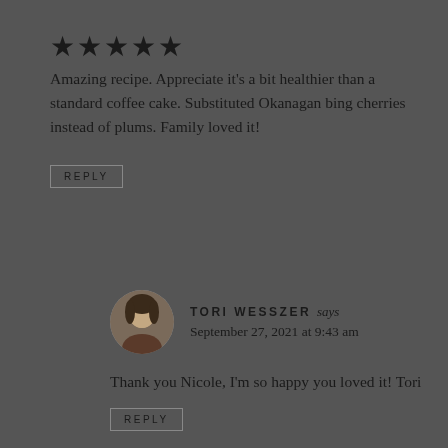★★★★★
Amazing recipe. Appreciate it's a bit healthier than a standard coffee cake. Substituted Okanagan bing cherries instead of plums. Family loved it!
REPLY
TORI WESSZER says
September 27, 2021 at 9:43 am
Thank you Nicole, I'm so happy you loved it! Tori
REPLY